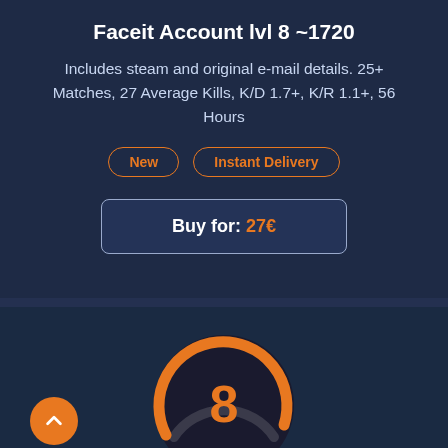Faceit Account lvl 8 ~1720
Includes steam and original e-mail details. 25+ Matches, 27 Average Kills, K/D 1.7+, K/R 1.1+, 56 Hours
New
Instant Delivery
Buy for: 27€
[Figure (other): Circular gauge showing level 8 with orange arc on dark background]